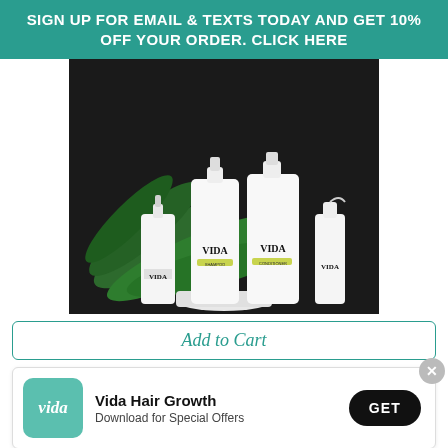SIGN UP FOR EMAIL & TEXTS TODAY AND GET 10% OFF YOUR ORDER. CLICK HERE
[Figure (photo): Photo of VIDA hair care product line: four white bottles (serum, shampoo, conditioner, spray) with green VIDA labels arranged on a surface with tropical green leaves against a dark background.]
Add to Cart
[Figure (infographic): App download banner: teal square icon with 'vida' text, bold heading 'Vida Hair Growth', subtext 'Download for Special Offers', black rounded GET button, and X close button.]